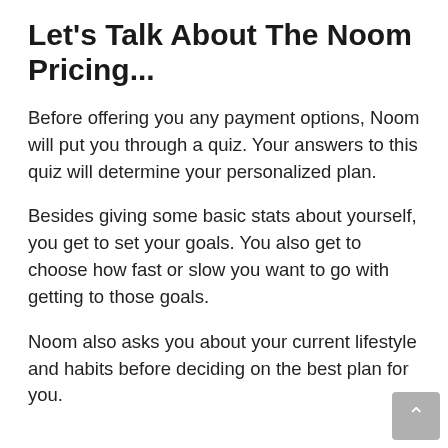Let's Talk About The Noom Pricing...
Before offering you any payment options, Noom will put you through a quiz. Your answers to this quiz will determine your personalized plan.
Besides giving some basic stats about yourself, you get to set your goals. You also get to choose how fast or slow you want to go with getting to those goals.
Noom also asks you about your current lifestyle and habits before deciding on the best plan for you.